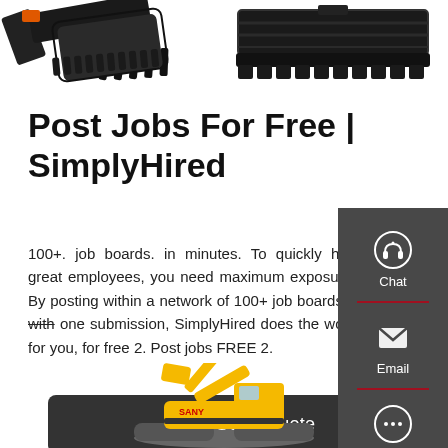[Figure (photo): Two construction/excavator equipment images at the top of the page]
Post Jobs For Free | SimplyHired
100+. job boards. in minutes. To quickly hire great employees, you need maximum exposure. By posting within a network of 100+ job boards with one submission, SimplyHired does the work for you, for free 2. Post jobs FREE 2.
[Figure (screenshot): Dark sidebar with Chat (headset icon), Email (envelope icon), and Contact (speech bubble icon) options]
[Figure (photo): Yellow SANY excavator construction equipment at the bottom of the page]
Get a Quote